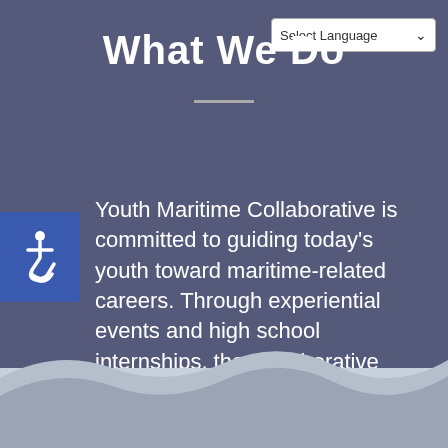What We Do
[Figure (other): Accessibility wheelchair icon button on blue background]
Youth Maritime Collaborative is committed to guiding today's youth toward maritime-related careers. Through experiential events and high school internships, the Collaborative works to connect companies with the next generation of skilled workers.
[Figure (other): Wave decoration at bottom of page, layered grey-blue waves on light blue background]